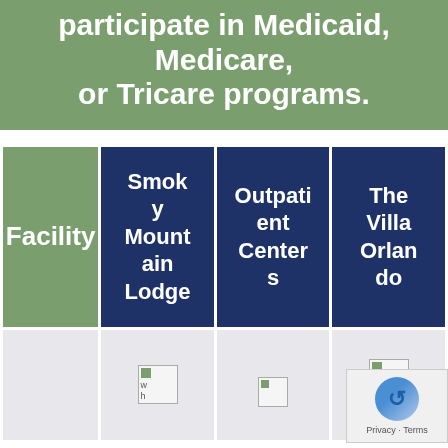participate in Medicaid, Medicare, or Tricare programs.
| Facility | Smoky Mountain Lodge | Outpatient Centers | The Villa Orlando |
| --- | --- | --- | --- |
|  | [image] | [image] | [image] |